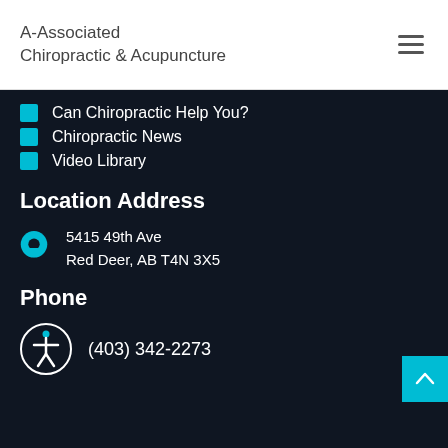A-Associated Chiropractic & Acupuncture
Can Chiropractic Help You?
Chiropractic News
Video Library
Location Address
5415 49th Ave
Red Deer, AB T4N 3X5
Phone
(403) 342-2273